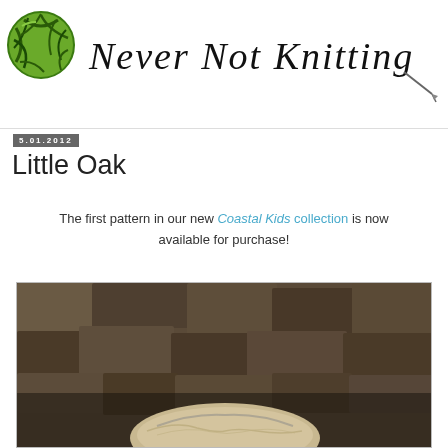[Figure (logo): Never Not Knitting blog logo: green yarn ball icon on left with cursive script text 'Never Not Knitting' and a small knitting needle on the right]
5.01.2012
Little Oak
The first pattern in our new Coastal Kids collection is now available for purchase!
[Figure (photo): Close-up photo of a young child's head and hair against a blurred stone wall background]